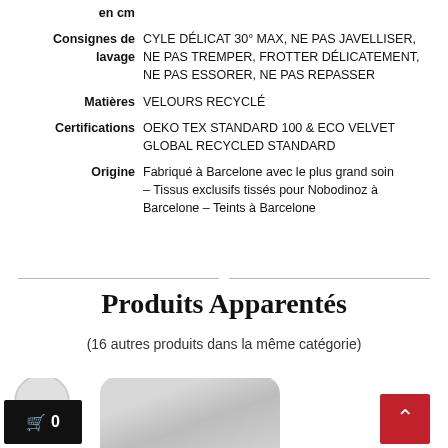| Label | Value |
| --- | --- |
| en cm |  |
| Consignes de lavage | CYLE DÉLICAT 30° MAX, NE PAS JAVELLISER, NE PAS TREMPER, FROTTER DÉLICATEMENT, NE PAS ESSORER, NE PAS REPASSER |
| Matières | VELOURS RECYCLÉ |
| Certifications | OEKO TEX STANDARD 100 & ECO VELVET GLOBAL RECYCLED STANDARD |
| Origine | Fabriqué à Barcelone avec le plus grand soin - Tissus exclusifs tissés pour Nobodinoz à Barcelone – Teints à Barcelone |
Produits Apparentés
(16 autres produits dans la même catégorie)
[Figure (photo): Gray velvet product partially visible at bottom of page, with a red scroll-to-top button and a black shopping cart button showing 0 items.]